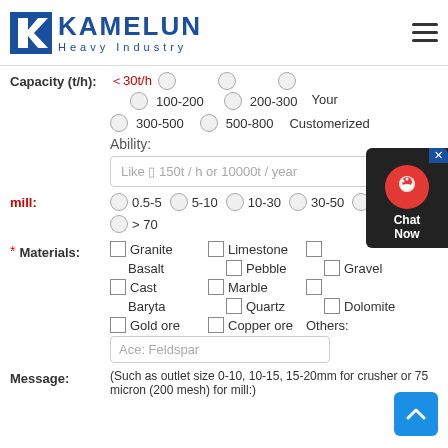KAMELUN Heavy Industry
Capacity (t/h): <30t/h  100-200  200-300  300-500  500-800  Your Customerized
Ability: Like □ 150t / h or 10000t / year
mill: 0.5-5  5-10  10-30  30-50  50-70  > 70
* Materials: Granite  Limestone  Basalt  Pebble  Gravel  Cast  Marble  Baryta  Quartz  Dolomite  Gold ore  Copper ore  Others: Ace: Feldspar
Message: (Such as outlet size 0-10, 10-15, 15-20mm for crusher or 75 micron (200 mesh) for mill:)
[Figure (other): Live chat support widget with headset icon and close button]
[Figure (other): Scroll to top button with upward arrow]